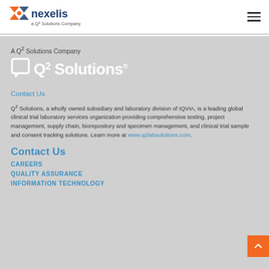nexelis — a Q2 Solutions Company
A Q2 Solutions Company
[Figure (logo): Q2 Solutions logo with chat-bubble icon and text 'Q2 Solutions']
Contact Us
Q2 Solutions, a wholly owned subsidiary and laboratory division of IQVIA, is a leading global clinical trial laboratory services organization providing comprehensive testing, project management, supply chain, biorepository and specimen management, and clinical trial sample and consent tracking solutions. Learn more at www.q2labsolutions.com.
Contact Us
CAREERS
QUALITY ASSURANCE
INFORMATION TECHNOLOGY